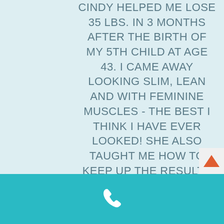CINDY HELPED ME LOSE 35 LBS. IN 3 MONTHS AFTER THE BIRTH OF MY 5TH CHILD AT AGE 43. I CAME AWAY LOOKING SLIM, LEAN AND WITH FEMININE MUSCLES - THE BEST I THINK I HAVE EVER LOOKED! SHE ALSO TAUGHT ME HOW TO KEEP UP THE RESULTS AT THE GYM. I HAVE BEEN ABLE TO MAINTAIN MY WEIGHT FOR THE LAST 3 YEARS."
MICHELLE S. | CARMEL, IN
[Figure (other): Phone icon (white handset silhouette) on teal/cyan footer bar]